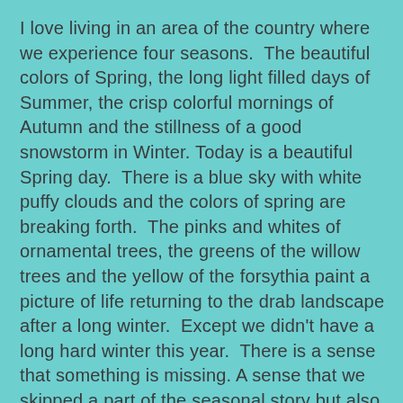I love living in an area of the country where we experience four seasons.  The beautiful colors of Spring, the long light filled days of Summer, the crisp colorful mornings of Autumn and the stillness of a good snowstorm in Winter. Today is a beautiful Spring day.  There is a blue sky with white puffy clouds and the colors of spring are breaking forth.  The pinks and whites of ornamental trees, the greens of the willow trees and the yellow of the forsythia paint a picture of life returning to the drab landscape after a long winter.  Except we didn't have a long hard winter this year.  There is a sense that something is missing. A sense that we skipped a part of the seasonal story but also a sense that may not be a bad thing. I guess it is a sense of did we get off too easy, will there be a price to pay for not having a real winter, a waiting for the other shoe to drop.  Maybe it is a sense that this is too good to true – Spring without a real Winter.  I wonder does